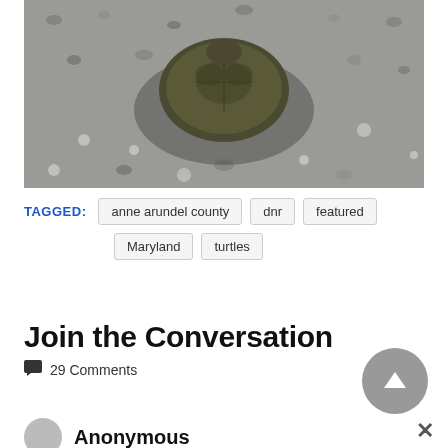[Figure (photo): Close-up photo of a snapping turtle on gravel/asphalt pavement, viewed from above, showing its shell and shadow.]
TAGGED: anne arundel county  dnr  featured  Maryland  turtles
Join the Conversation
29 Comments
Anonymous